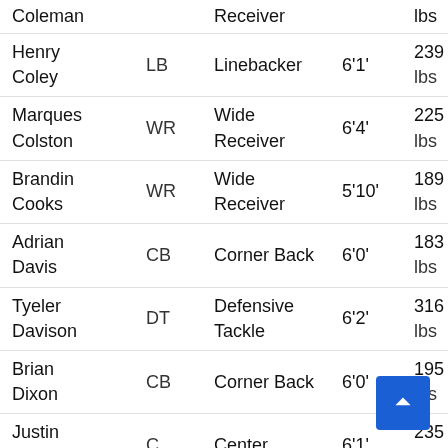| Name | Pos | Position | Height | Weight | DOB |
| --- | --- | --- | --- | --- | --- |
| Coleman |  | Receiver |  | lbs |  |
| Henry Coley | LB | Linebacker | 6'1' | 239 lbs | 1/1/1900 |
| Marques Colston | WR | Wide Receiver | 6'4' | 225 lbs | 6/5/198... |
| Brandin Cooks | WR | Wide Receiver | 5'10' | 189 lbs | 9/25/19... |
| Adrian Davis | CB | Corner Back | 6'0' | 183 lbs | 7/6/198... |
| Tyeler Davison | DT | Defensive Tackle | 6'2' | 316 lbs | 9/23/19... |
| Brian Dixon | CB | Corner Back | 6'0' | 195 lbs | 4/26/19... |
| Justin Drescher | C | Center | 6'1' | 235 lbs | 1/1988... |